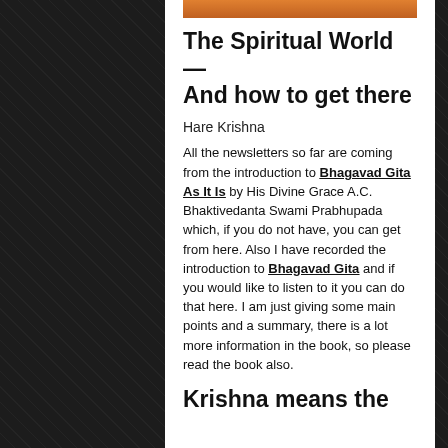[Figure (photo): Colorful image strip at top of content column]
The Spiritual World — And how to get there
Hare Krishna
All the newsletters so far are coming from the introduction to Bhagavad Gita As It Is by His Divine Grace A.C. Bhaktivedanta Swami Prabhupada which, if you do not have, you can get from here. Also I have recorded the introduction to Bhagavad Gita and if you would like to listen to it you can do that here. I am just giving some main points and a summary, there is a lot more information in the book, so please read the book also.
Krishna means the